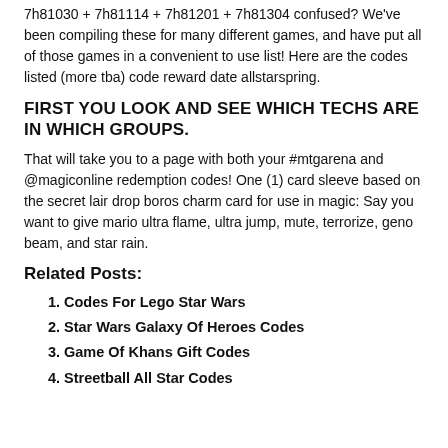7h81030 + 7h81114 + 7h81201 + 7h81304 confused? We've been compiling these for many different games, and have put all of those games in a convenient to use list! Here are the codes listed (more tba) code reward date allstarspring.
FIRST YOU LOOK AND SEE WHICH TECHS ARE IN WHICH GROUPS.
That will take you to a page with both your #mtgarena and @magiconline redemption codes! One (1) card sleeve based on the secret lair drop boros charm card for use in magic: Say you want to give mario ultra flame, ultra jump, mute, terrorize, geno beam, and star rain.
Related Posts:
Codes For Lego Star Wars
Star Wars Galaxy Of Heroes Codes
Game Of Khans Gift Codes
Streetball All Star Codes